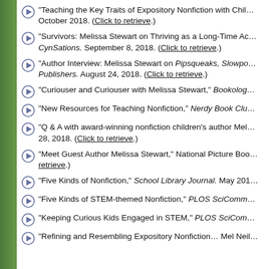“Teaching the Key Traits of Expository Nonfiction with Chil… October 2018. (Click to retrieve.)
“Survivors: Melissa Stewart on Thriving as a Long-Time Ac… CynSations. September 8, 2018. (Click to retrieve.)
“Author Interview: Melissa Stewart on Pipsqueaks, Slowpo… Publishers. August 24, 2018. (Click to retrieve.)
“Curiouser and Curiouser with Melissa Stewart,” Bookolog…
“New Resources for Teaching Nonfiction,” Nerdy Book Clu…
“Q & A with award-winning nonfiction children’s author Mel… 28, 2018. (Click to retrieve.)
“Meet Guest Author Melissa Stewart,” National Picture Boo… retrieve.)
“Five Kinds of Nonfiction,” School Library Journal. May 201…
“Five Kinds of STEM-themed Nonfiction,” PLOS SciComm…
“Keeping Curious Kids Engaged in STEM,” PLOS SciCom…
“Refining and Resembling Expository Nonfiction… Mel Neil…